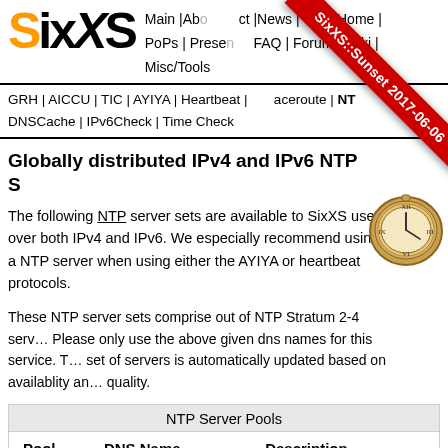SixXS | Main | About | Contact | News | User Home | PoPs | Presentations | FAQ | Forum | Wiki | Misc/Tools
GRH | AICCU | TIC | AYIYA | Heartbeat | Traceroute | NTP | DNSCache | IPv6Check | Time Check
[Figure (illustration): SixXS Sunset 2017-06-06 red diagonal ribbon overlay]
Globally distributed IPv4 and IPv6 NTP S…
The following NTP server sets are available to SixXS users over both IPv4 and IPv6. We especially recommend using a NTP server when using either the AYIYA or heartbeat protocols.
These NTP server sets comprise out of NTP Stratum 2-4 serv… Please only use the above given dns names for this service. T… set of servers is automatically updated based on availablity an… quality.
NTP Server Pools
| Pool | DNS Name | Description |
| --- | --- | --- |